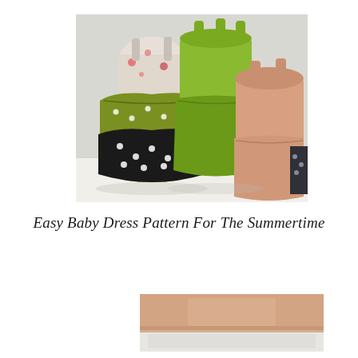[Figure (photo): Three colorful baby/toddler summer dresses displayed together: one with green and black polka dot fabric, one with white floral print, one solid light green, and one solid peach/salmon color. The dresses have gathered skirts and thin straps.]
Easy Baby Dress Pattern For The Summertime
[Figure (photo): Partial bottom view of a light peach/salmon colored baby dress on white background.]